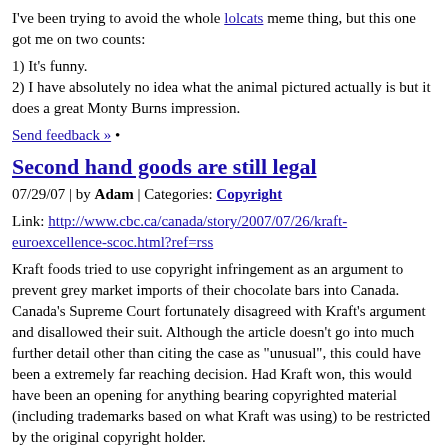I've been trying to avoid the whole lolcats meme thing, but this one got me on two counts:
1) It's funny.
2) I have absolutely no idea what the animal pictured actually is but it does a great Monty Burns impression.
Send feedback » •
Second hand goods are still legal
07/29/07 | by Adam | Categories: Copyright
Link: http://www.cbc.ca/canada/story/2007/07/26/kraft-euroexcellence-scoc.html?ref=rss
Kraft foods tried to use copyright infringement as an argument to prevent grey market imports of their chocolate bars into Canada. Canada's Supreme Court fortunately disagreed with Kraft's argument and disallowed their suit. Although the article doesn't go into much further detail other than citing the case as "unusual", this could have been a extremely far reaching decision. Had Kraft won, this would have been an opening for anything bearing copyrighted material (including trademarks based on what Kraft was using) to be restricted by the original copyright holder.